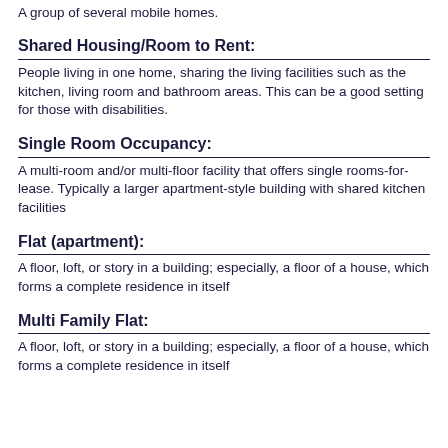A group of several mobile homes.
Shared Housing/Room to Rent:
People living in one home, sharing the living facilities such as the kitchen, living room and bathroom areas. This can be a good setting for those with disabilities.
Single Room Occupancy:
A multi-room and/or multi-floor facility that offers single rooms-for-lease. Typically a larger apartment-style building with shared kitchen facilities
Flat (apartment):
A floor, loft, or story in a building; especially, a floor of a house, which forms a complete residence in itself
Multi Family Flat:
A floor, loft, or story in a building; especially, a floor of a house, which forms a complete residence in itself